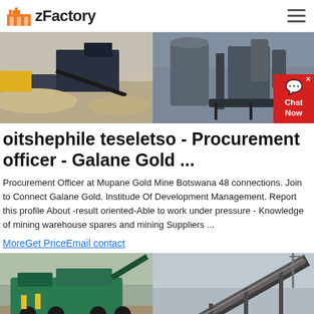zFactory
[Figure (photo): Two mining site photos side by side: left shows a quarry/crusher site with stockpiles of crushed stone and heavy machinery; right shows industrial processing plant equipment with large cylindrical tanks and pipe structures.]
oitshephile teseletso - Procurement officer - Galane Gold ...
Procurement Officer at Mupane Gold Mine Botswana 48 connections. Join to Connect Galane Gold. Institude Of Development Management. Report this profile About -result oriented-Able to work under pressure - Knowledge of mining warehouse spares and mining Suppliers ...
MoreGet PriceEmail contact
[Figure (photo): Two mining equipment photos side by side: left shows a large green mobile crusher/screening plant in a quarry; right shows a conveyor belt system transporting crushed aggregate material.]